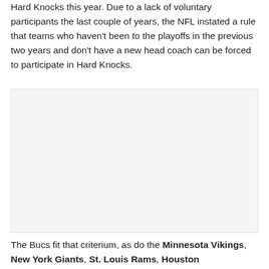Hard Knocks this year. Due to a lack of voluntary participants the last couple of years, the NFL instated a rule that teams who haven't been to the playoffs in the previous two years and don't have a new head coach can be forced to participate in Hard Knocks.
[Figure (photo): Image placeholder area, appears to be a photo related to the article content about NFL Hard Knocks]
The Bucs fit that criterium, as do the Minnesota Vikings, New York Giants, St. Louis Rams, Houston